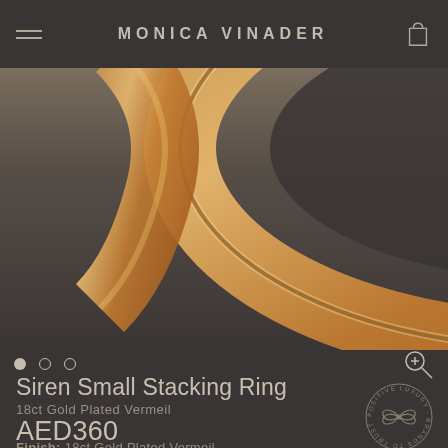MONICA VINADER
[Figure (photo): Close-up product photo of the Siren Small Stacking Ring in 18ct Gold Plated Vermeil finish against a dark background. The ring appears in gold/rose-gold color with a smooth curved form.]
Siren Small Stacking Ring
18ct Gold Plated Vermeil
AED360
Finish: 18ct Gold Plated Vermeil